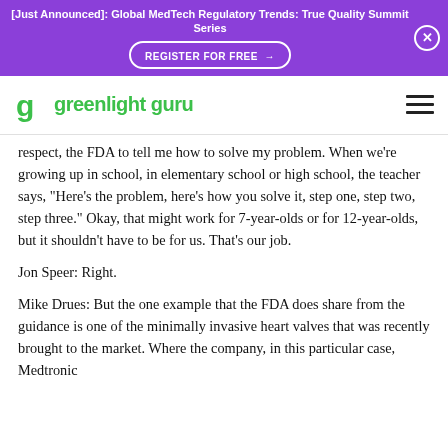[Just Announced]: Global MedTech Regulatory Trends: True Quality Summit Series
REGISTER FOR FREE →
[Figure (logo): Greenlight Guru logo — green stylized 'g' icon followed by 'greenlight guru' text in green]
respect, the FDA to tell me how to solve my problem. When we're growing up in school, in elementary school or high school, the teacher says, "Here's the problem, here's how you solve it, step one, step two, step three." Okay, that might work for 7-year-olds or for 12-year-olds, but it shouldn't have to be for us. That's our job.
Jon Speer: Right.
Mike Drues: But the one example that the FDA does share from the guidance is one of the minimally invasive heart valves that was recently brought to the market. Where the company, in this particular case, Medtronic